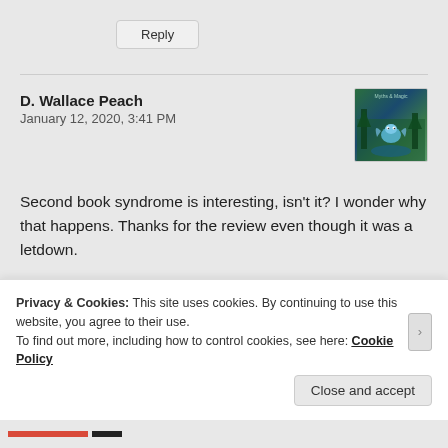Reply
D. Wallace Peach
January 12, 2020, 3:41 PM
[Figure (illustration): Avatar image showing a fantasy dragon or creature in a forest/nature scene with teal and green tones]
Second book syndrome is interesting, isn't it? I wonder why that happens. Thanks for the review even though it was a letdown.
Like
Reply
Privacy & Cookies: This site uses cookies. By continuing to use this website, you agree to their use.
To find out more, including how to control cookies, see here: Cookie Policy
Close and accept